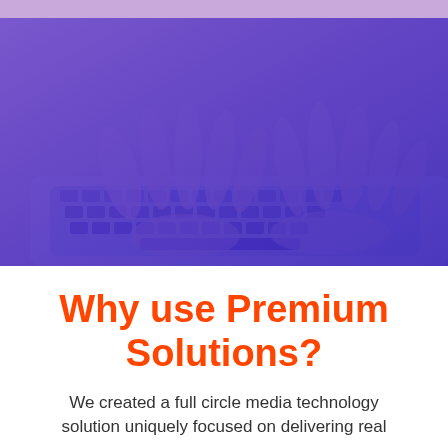[Figure (photo): Close-up photo of hands typing on a laptop keyboard, overlaid with a blue/purple duotone color filter (blue-violet tones dominant).]
Why use Premium Solutions?
We created a full circle media technology solution uniquely focused on delivering real